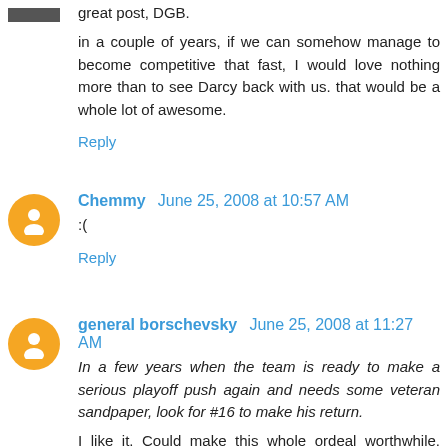great post, DGB.
in a couple of years, if we can somehow manage to become competitive that fast, I would love nothing more than to see Darcy back with us. that would be a whole lot of awesome.
Reply
Chemmy  June 25, 2008 at 10:57 AM
:(
Reply
general borschevsky  June 25, 2008 at 11:27 AM
In a few years when the team is ready to make a serious playoff push again and needs some veteran sandpaper, look for #16 to make his return.
I like it. Could make this whole ordeal worthwhile. Does this count as "optimism"?